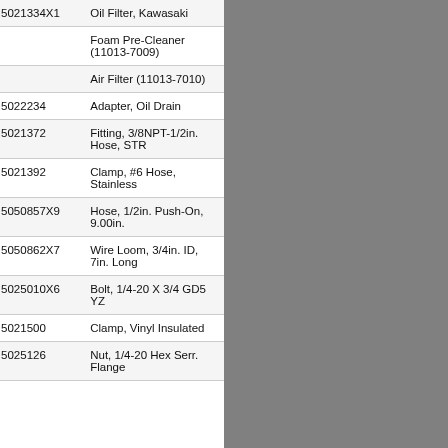| Item | Part No. | Description |
| --- | --- | --- |
| 0 | 5021334X1 | Oil Filter, Kawasaki |
| 0 |  | Foam Pre-Cleaner (11013-7009) |
| 0 |  | Air Filter (11013-7010) |
| 2 | 5022234 | Adapter, Oil Drain |
| 3 | 5021372 | Fitting, 3/8NPT-1/2in. Hose, STR |
| 4 | 5021392 | Clamp, #6 Hose, Stainless |
| 5 | 5050857X9 | Hose, 1/2in. Push-On, 9.00in. |
| 6 | 5050862X7 | Wire Loom, 3/4in. ID, 7in. Long |
| 7 | 5025010X6 | Bolt, 1/4-20 X 3/4 GD5 YZ |
| 8 | 5021500 | Clamp, Vinyl Insulated |
| 9 | 5025126 | Nut, 1/4-20 Hex Serr. Flange |